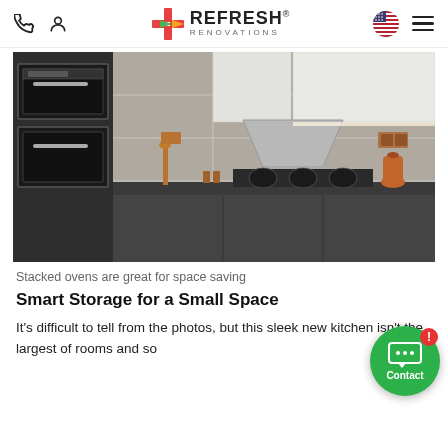Refresh Renovations navigation bar with phone, account, logo, US flag, and hamburger menu
[Figure (photo): Modern dark grey kitchen with stacked wall ovens on the left, gas hob on the dark worktop, grey cabinetry, marble-effect tile splashback, and stainless steel extractor hood. Copper-toned fixtures and accessories visible.]
Stacked ovens are great for space saving
Smart Storage for a Small Space
It's difficult to tell from the photos, but this sleek new kitchen isn't the largest of rooms and so